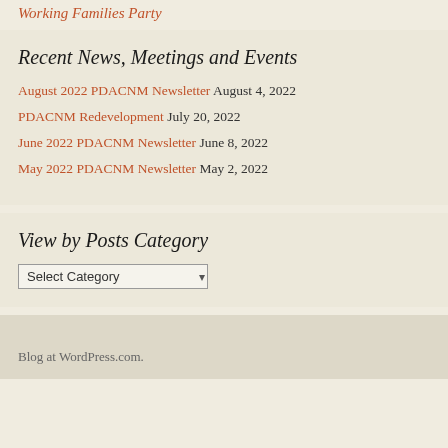Working Families Party
Recent News, Meetings and Events
August 2022 PDACNM Newsletter  August 4, 2022
PDACNM Redevelopment  July 20, 2022
June 2022 PDACNM Newsletter  June 8, 2022
May 2022 PDACNM Newsletter  May 2, 2022
View by Posts Category
Select Category
Blog at WordPress.com.